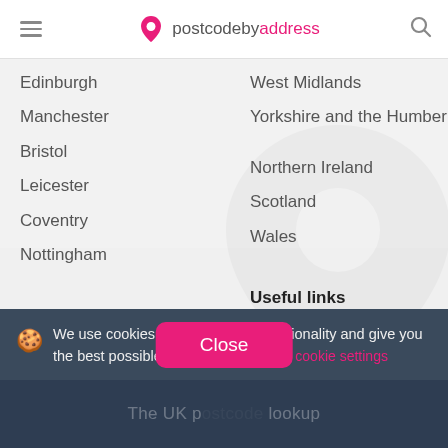postcodebyaddress
Edinburgh
Manchester
Bristol
Leicester
Coventry
Nottingham
West Midlands
Yorkshire and the Humber
Northern Ireland
Scotland
Wales
Informatie
Postcodes UK
FAQ
Contact
Useful links
Royal Mail
Post Office
US ZIP Codes
We use cookies to optimize site functionality and give you the best possible experience manage cookie settings
The UK postcode lookup